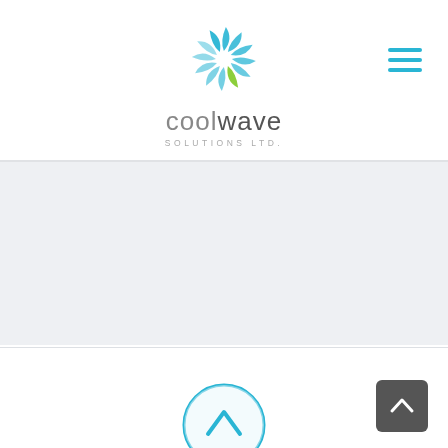[Figure (logo): Coolwave Solutions Ltd. logo — swirling teal and green circular icon above the text 'coolwave SOLUTIONS LTD.']
[Figure (other): Hamburger menu icon (three horizontal teal lines) in the upper right corner]
[Figure (other): Light gray banner/section spanning full width]
[Figure (other): Dark gray rounded rectangle back-to-top button with white chevron arrow]
[Figure (other): Partial teal circular icon with upward arrow visible at bottom center]